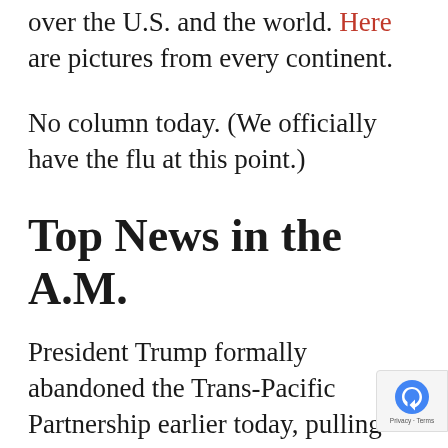over the U.S. and the world. Here are pictures from every continent.
No column today. (We officially have the flu at this point.)
Top News in the A.M.
President Trump formally abandoned the Trans-Pacific Partnership earlier today, pulling away from Asia and scrapping President Obama’s most significant trade deal on his first full weekday in office. Dealbook has more here.